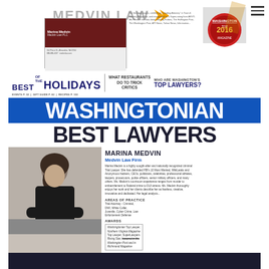[Figure (logo): Medvin Law logo with text and orange arrow chevron]
[Figure (screenshot): Washington Top Lawyers 2016 badge/seal in red and gold]
[Figure (photo): Washingtonian magazine cover featuring Best Lawyers issue with WASHINGTONIAN in blue and BEST LAWYERS in dark navy. Includes header text: BEST OF THE HOLIDAYS, WHAT RESTAURANTS DO TO TRICK CRITICS, WHO ARE WASHINGTON'S TOP LAWYERS? Bottom section shows photo of Marina Medvin and her bio text.]
MARINA MEDVIN
Medvin Law Firm
Marina Medvin is a highly sought-after and nationally recognized criminal Trial Lawyer. She has defended FBI's 10 Most Wanted, WikiLeaks and Anonymous hackers, CEOs, politicians, celebrities, professional athletes, lawyers, prosecutors, police officers, senior military officers, and many others. Ms. Medvin's courtroom experience ranges from murder to embezzlement to Federal crime to DUI arrests. Ms. Medvin thoroughly enjoys her work and her clients describe her as fearless, creative, innovative and dedicated. Her legal analysis...
AREAS OF PRACTICE
Trial Attorney - Criminal, DWI, White Collar, Juvenile, Cyber Crime, Law Enforcement Defense
AWARDS
Washingtonian Top Lawyer, Northern Virginia Magazine Top Lawyer, SuperLawyers Rising Star, featured in the Washington Post and in Richmond Magazine